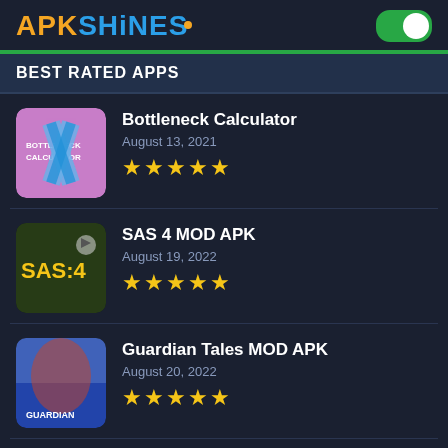APKSHINES
BEST RATED APPS
Bottleneck Calculator
August 13, 2021
★★★★★
SAS 4 MOD APK
August 19, 2022
★★★★★
Guardian Tales MOD APK
August 20, 2022
★★★★★
Free Fire Diamond Hack
July 30, 2022
★★★★★